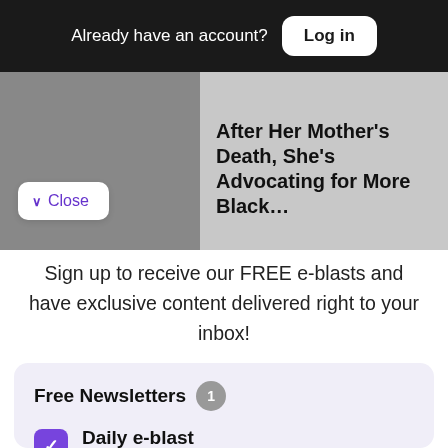Already have an account? Log in
After Her Mother’s Death, She’s Advocating for More Black…
∧ Close
Sign up to receive our FREE e-blasts and have exclusive content delivered right to your inbox!
Free Newsletters 1
Daily e-blast
Join thousands of readers who get their coverage on Black communities from the media company who has been doing it